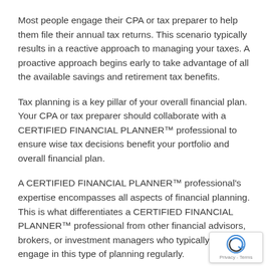Most people engage their CPA or tax preparer to help them file their annual tax returns. This scenario typically results in a reactive approach to managing your taxes. A proactive approach begins early to take advantage of all the available savings and retirement tax benefits.
Tax planning is a key pillar of your overall financial plan. Your CPA or tax preparer should collaborate with a CERTIFIED FINANCIAL PLANNER™ professional to ensure wise tax decisions benefit your portfolio and overall financial plan.
A CERTIFIED FINANCIAL PLANNER™ professional's expertise encompasses all aspects of financial planning. This is what differentiates a CERTIFIED FINANCIAL PLANNER™ professional from other financial advisors, brokers, or investment managers who typically do not engage in this type of planning regularly.
[Figure (logo): reCAPTCHA badge with circular arrow icon and Privacy - Terms text]